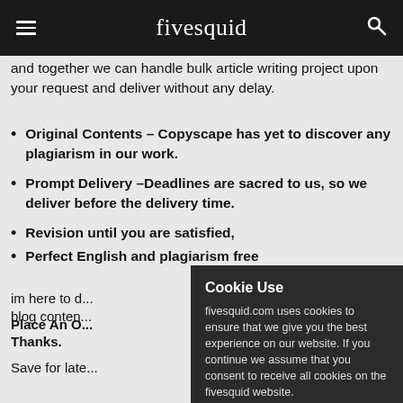fivesquid
and together we can handle bulk article writing project upon your request and deliver without any delay.
Original Contents – Copyscape has yet to discover any plagiarism in our work.
Prompt Delivery –Deadlines are sacred to us, so we deliver before the delivery time.
Revision until you are satisfied,
Perfect English and plagiarism free
im here to d... blog conten...
Place An O... Thanks.
Save for late...
[Figure (screenshot): Cookie Use popup dialog from fivesquid.com. Title: Cookie Use. Body: fivesquid.com uses cookies to ensure that we give you the best experience on our website. If you continue we assume that you consent to receive all cookies on the fivesquid website. Buttons: OK, More]